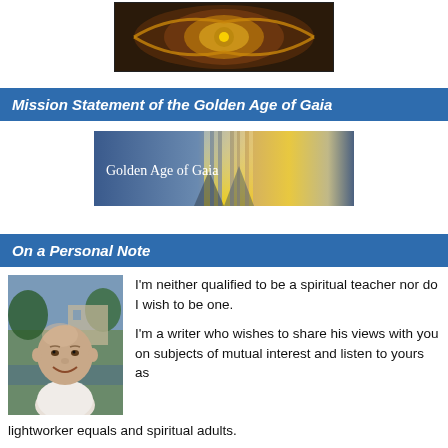[Figure (photo): Decorative circular mandala or ornate artwork with golden and purple hues, partially cropped at top of page]
Mission Statement of the Golden Age of Gaia
[Figure (photo): Banner image for Golden Age of Gaia website showing golden light beams and blue sky with text 'Golden Age of Gaia']
On a Personal Note
[Figure (photo): Photo of a middle-aged bald man smiling, outdoors near water]
I'm neither qualified to be a spiritual teacher nor do I wish to be one.
I'm a writer who wishes to share his views with you on subjects of mutual interest and listen to yours as lightworker equals and spiritual adults.